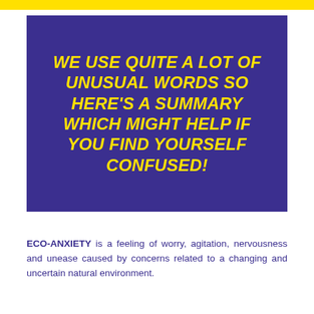[Figure (infographic): Yellow horizontal bar at top of page]
WE USE QUITE A LOT OF UNUSUAL WORDS SO HERE'S A SUMMARY WHICH MIGHT HELP IF YOU FIND YOURSELF CONFUSED!
ECO-ANXIETY is a feeling of worry, agitation, nervousness and unease caused by concerns related to a changing and uncertain natural environment.